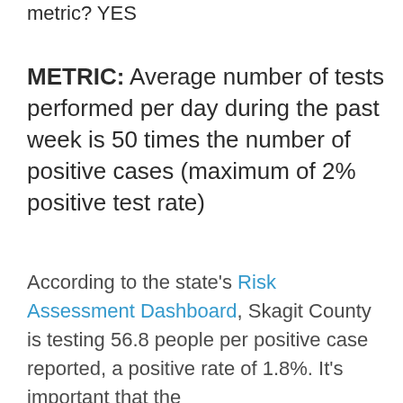metric? YES
METRIC: Average number of tests performed per day during the past week is 50 times the number of positive cases (maximum of 2% positive test rate)
According to the state's Risk Assessment Dashboard, Skagit County is testing 56.8 people per positive case reported, a positive rate of 1.8%. It's important that the